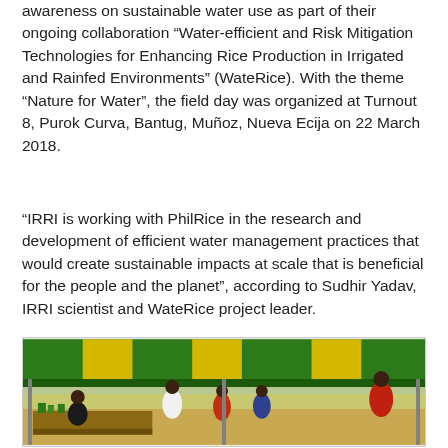awareness on sustainable water use as part of their ongoing collaboration “Water-efficient and Risk Mitigation Technologies for Enhancing Rice Production in Irrigated and Rainfed Environments” (WateRice). With the theme “Nature for Water”, the field day was organized at Turnout 8, Purok Curva, Bantug, Muñoz, Nueva Ecija on 22 March 2018.
“IRRI is working with PhilRice in the research and development of efficient water management practices that would create sustainable impacts at scale that is beneficial for the people and the planet”, according to Sudhir Yadav, IRRI scientist and WateRice project leader.
[Figure (photo): Outdoor field day event under a green and yellow canopy tent. Several people are standing and interacting around display tables with plants and materials. Rice fields are visible in the background.]